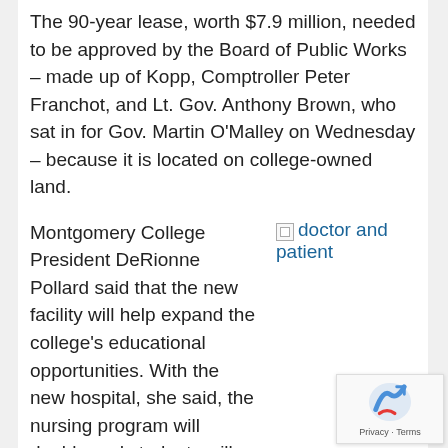The 90-year lease, worth $7.9 million, needed to be approved by the Board of Public Works – made up of Kopp, Comptroller Peter Franchot, and Lt. Gov. Anthony Brown, who sat in for Gov. Martin O'Malley on Wednesday – because it is located on college-owned land.
Montgomery College President DeRionne Pollard said that the new facility will help expand the college's educational opportunities. With the new hospital, she said, the nursing program will double and students will have several more
[Figure (photo): Broken image placeholder with link text 'doctor and patient']